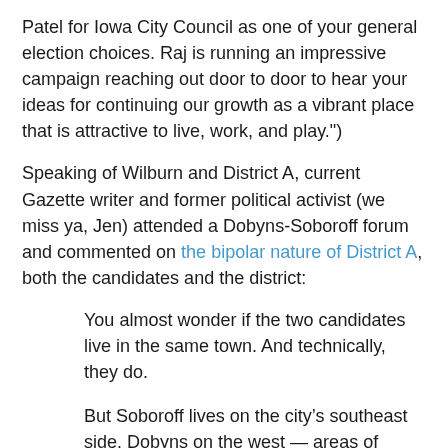Patel for Iowa City Council as one of your general election choices. Raj is running an impressive campaign reaching out door to door to hear your ideas for continuing our growth as a vibrant place that is attractive to live, work, and play.")
Speaking of Wilburn and District A, current Gazette writer and former political activist (we miss ya, Jen) attended a Dobyns-Soboroff forum and commented on the bipolar nature of District A, both the candidates and the district:
You almost wonder if the two candidates live in the same town. And technically, they do.
But Soboroff lives on the city’s southeast side. Dobyns on the west — areas of town that are as night-and-day different as the candidates themselves.
Both Soboroff and Dobyns give you the feeling they’d represent their parts of the city well.
But because District A is so sprawling, no matter